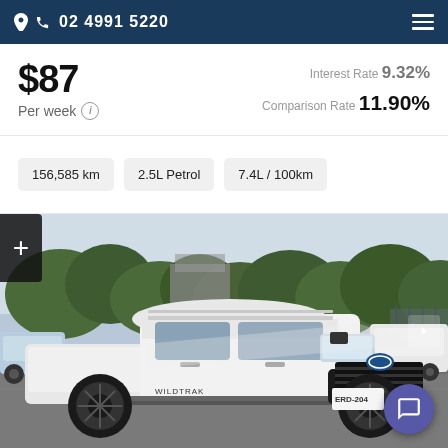02 4991 5220
$87 Per week | Interest Rate 9.32% | Comparison Rate 11.90%
156,585 km
2.5L Petrol
7.4L / 100km
[Figure (photo): White Ford Ranger Wildtrak dual-cab ute photographed in a dealership car park, front three-quarter view. License plate ERD-204.]